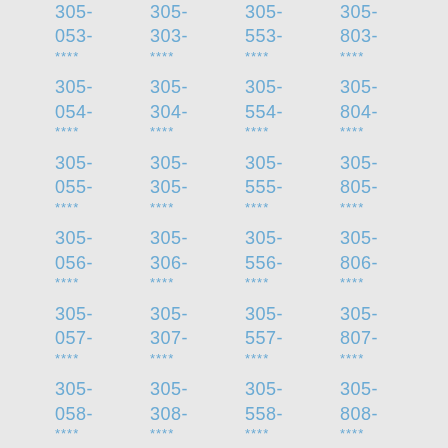305-053-****
305-303-****
305-553-****
305-803-****
305-054-****
305-304-****
305-554-****
305-804-****
305-055-****
305-305-****
305-555-****
305-805-****
305-056-****
305-306-****
305-556-****
305-806-****
305-057-****
305-307-****
305-557-****
305-807-****
305-058-****
305-308-****
305-558-****
305-808-****